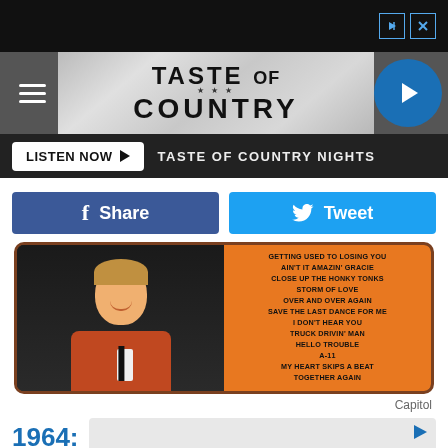[Figure (screenshot): Black ad bar at top with skip/close ad icons]
[Figure (logo): Taste of Country website header logo with hamburger menu and play button]
LISTEN NOW ▶  TASTE OF COUNTRY NIGHTS
f  Share
🐦  Tweet
[Figure (photo): Album cover showing a smiling man in orange/red jacket on left side, with tracklist on orange right side listing: GETTING USED TO LOSING YOU, AIN'T IT AMAZIN' GRACIE, CLOSE UP THE HONKY TONKS, STORM OF LOVE, OVER AND OVER AGAIN, SAVE THE LAST DANCE FOR ME, I DON'T HEAR YOU, TRUCK DRIVIN' MAN, HELLO TROUBLE, A-11, MY HEART SKIPS A BEAT, TOGETHER AGAIN]
Capitol
1964: